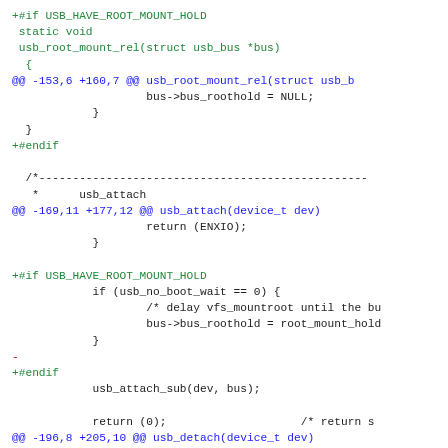Diff/patch code snippet showing USB root mount hold changes in a kernel source file, including added #if USB_HAVE_ROOT_MOUNT_HOLD preprocessor blocks, hunk headers, and usb_attach/usb_detach function context.